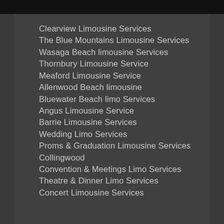Clearview Limousine Services
The Blue Mountains Limousine Services
Wasaga Beach limousine Services
Thornbury Limousine Service
Meaford Limousine Service
Allenwood Beach limousine
Bluewater Beach limo Services
Angus Limousine Service
Barrie Limousine Services
Wedding Limo Services
Proms & Graduation Limousine Services Collingwood
Convention & Meetings Limo Services
Theatre & Dinner Limo Services
Concert Limousine Services